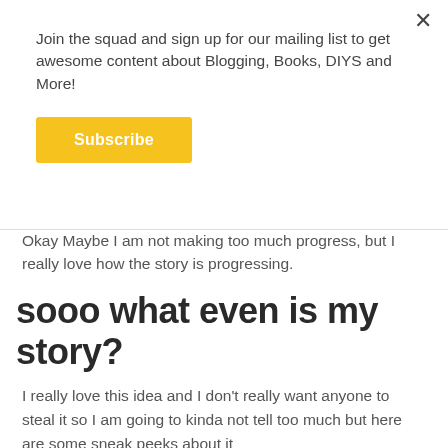Join the squad and sign up for our mailing list to get awesome content about Blogging, Books, DIYS and More!
Subscribe
Okay Maybe I am not making too much progress, but I really love how the story is progressing.
sooo what even is my story?
I really love this idea and I don't really want anyone to steal it so I am going to kinda not tell too much but here are some sneak peeks about it
its called bookish